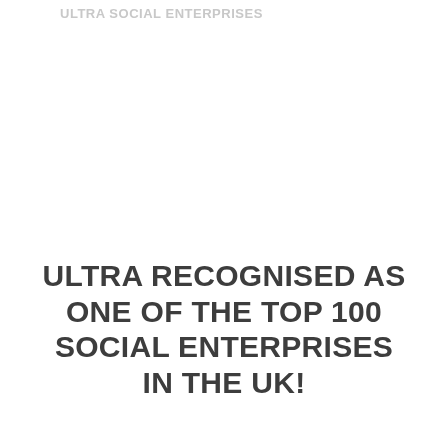ULTRA SOCIAL ENTERPRISES
ULTRA RECOGNISED AS ONE OF THE TOP 100 SOCIAL ENTERPRISES IN THE UK!